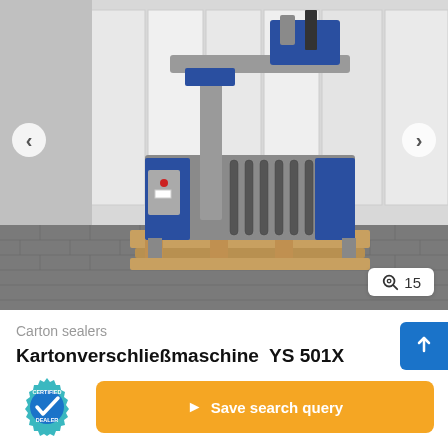[Figure (photo): Industrial carton sealing machine (Kartonverschließmaschine YS 501X) in grey and blue, mounted on a wooden pallet, shown in a warehouse/showroom with grey storage cabinets in background. Image carousel with left/right navigation arrows and a photo count badge showing 15.]
Carton sealers
Kartonverschließmaschine  YS 501X Kartonverkleber / große Formate
[Figure (logo): Certified Dealer badge — teal gear/cog shape with a blue circle containing a white checkmark, text reads CERTIFIED DEALER]
Save search query